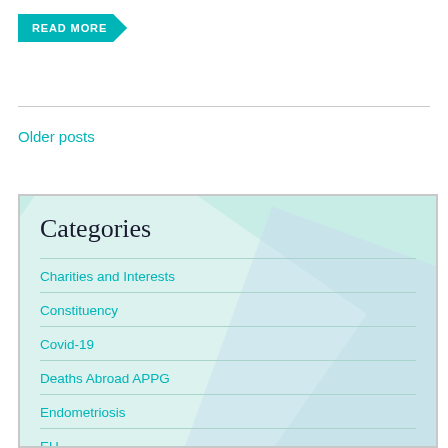[Figure (other): Teal arrow-shaped READ MORE button]
Older posts
Categories
Charities and Interests
Constituency
Covid-19
Deaths Abroad APPG
Endometriosis
EU
Helpful Coronavirus (COVID-19) Resources
Independence